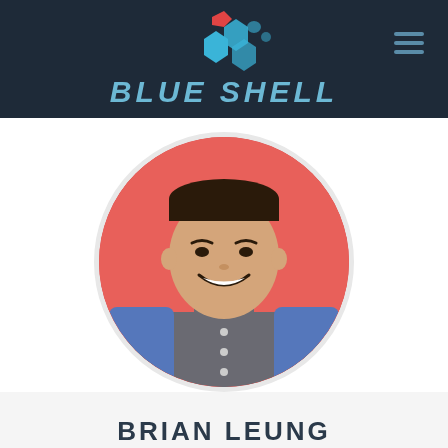[Figure (logo): Blue Shell logo with blue hexagon shell shape and red accent on dark navy background, with hamburger menu icon in top right]
[Figure (photo): Circular profile photo of Brian Leung, a young Asian man smiling, wearing a grey and blue baseball-style henley shirt, against a red/coral background]
BRIAN LEUNG
With years of experience in developing viral